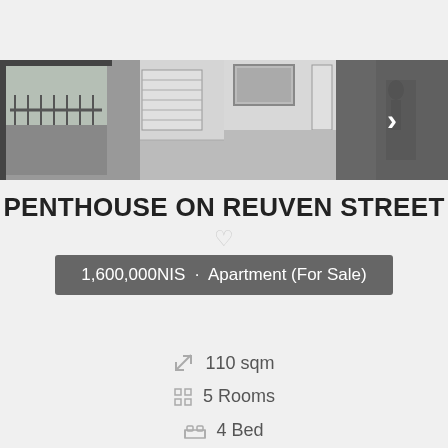[Figure (photo): Photo strip of 4 property images: window view, empty room, dining room, partial view with navigation arrow]
PENTHOUSE ON REUVEN STREET
♡
1,600,000NIS · Apartment (For Sale)
110 sqm
5 Rooms
4 Bed...